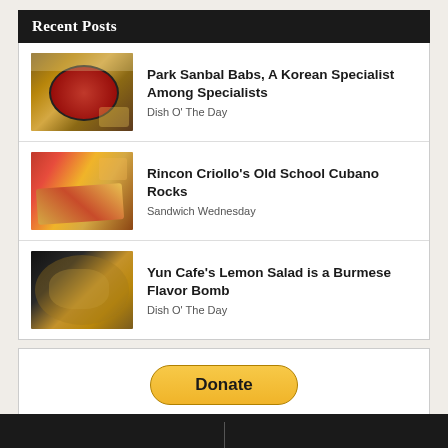Recent Posts
Park Sanbal Babs, A Korean Specialist Among Specialists
Dish O' The Day
Rincon Criollo's Old School Cubano Rocks
Sandwich Wednesday
Yun Cafe's Lemon Salad is a Burmese Flavor Bomb
Dish O' The Day
[Figure (other): Donate button with PayPal and credit card icons (Visa, Mastercard, Maestro, Amex, Discover, and one more)]